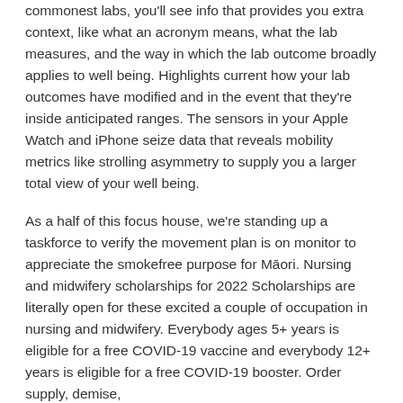commonest labs, you'll see info that provides you extra context, like what an acronym means, what the lab measures, and the way in which the lab outcome broadly applies to well being. Highlights current how your lab outcomes have modified and in the event that they're inside anticipated ranges. The sensors in your Apple Watch and iPhone seize data that reveals mobility metrics like strolling asymmetry to supply you a larger total view of your well being.
As a half of this focus house, we're standing up a taskforce to verify the movement plan is on monitor to appreciate the smokefree purpose for Māori. Nursing and midwifery scholarships for 2022 Scholarships are literally open for these excited a couple of occupation in nursing and midwifery. Everybody ages 5+ years is eligible for a free COVID-19 vaccine and everybody 12+ years is eligible for a free COVID-19 booster. Order supply, demise,